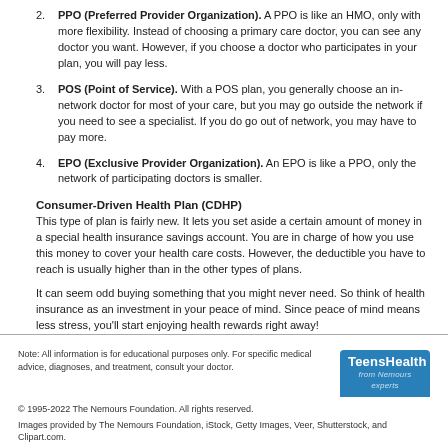2. PPO (Preferred Provider Organization). A PPO is like an HMO, only with more flexibility. Instead of choosing a primary care doctor, you can see any doctor you want. However, if you choose a doctor who participates in your plan, you will pay less.
3. POS (Point of Service). With a POS plan, you generally choose an in-network doctor for most of your care, but you may go outside the network if you need to see a specialist. If you do go out of network, you may have to pay more.
4. EPO (Exclusive Provider Organization). An EPO is like a PPO, only the network of participating doctors is smaller.
Consumer-Driven Health Plan (CDHP)
This type of plan is fairly new. It lets you set aside a certain amount of money in a special health insurance savings account. You are in charge of how you use this money to cover your health care costs. However, the deductible you have to reach is usually higher than in the other types of plans.
It can seem odd buying something that you might never need. So think of health insurance as an investment in your peace of mind. Since peace of mind means less stress, you'll start enjoying health rewards right away!
Reviewed by: Steven Dowshen, MD
Date reviewed: July 2018
Note: All information is for educational purposes only. For specific medical advice, diagnoses, and treatment, consult your doctor.
© 1995-2022 The Nemours Foundation. All rights reserved.
Images provided by The Nemours Foundation, iStock, Getty Images, Veer, Shutterstock, and Clipart.com.